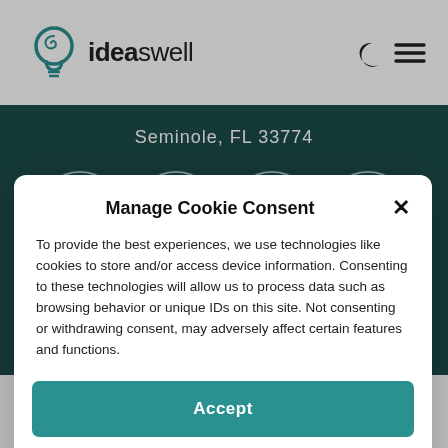[Figure (logo): IdeaSwell logo with teal lightbulb icon and text 'ideaswell']
Seminole, FL 33774
[Figure (illustration): Four circular badge icons: WordPress Specialist, SEO Industry Leading, Quality Customer Support (5 stars), 99.9% Up-Time Lightning Fast]
Manage Cookie Consent
To provide the best experiences, we use technologies like cookies to store and/or access device information. Consenting to these technologies will allow us to process data such as browsing behavior or unique IDs on this site. Not consenting or withdrawing consent, may adversely affect certain features and functions.
Accept
Cookie Policy   Privacy Policy